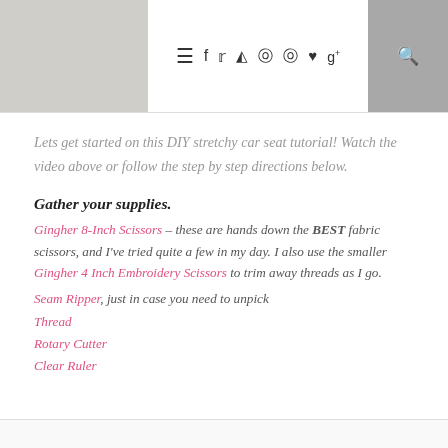Navigation bar with social icons and search
Lets get started on this DIY stretchy car seat tutorial! Watch the video above or follow the step by step directions below.
Gather your supplies.
Gingher 8-Inch Scissors – these are hands down the BEST fabric scissors, and I've tried quite a few in my day. I also use the smaller Gingher 4 Inch Embroidery Scissors to trim away threads as I go.
Seam Ripper, just in case you need to unpick
Thread
Rotary Cutter
Clear Ruler